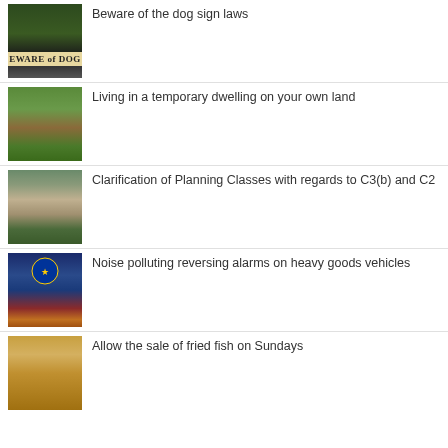Beware of the dog sign laws
Living in a temporary dwelling on your own land
Clarification of Planning Classes with regards to C3(b) and C2
Noise polluting reversing alarms on heavy goods vehicles
Allow the sale of fried fish on Sundays